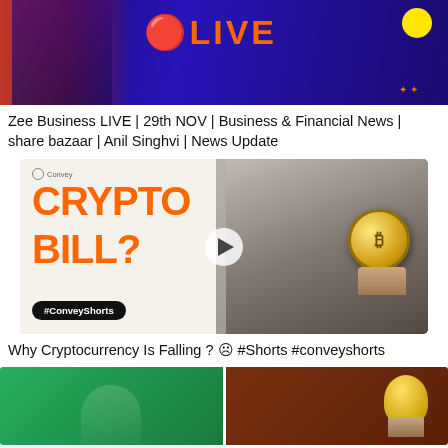[Figure (screenshot): Zee Business LIVE stream thumbnail — dark blue/purple background with orange LIVE text, yellow circle graphic, and a person on the left side in red/dark tones.]
Zee Business LIVE | 29th NOV | Business & Financial News | share bazaar | Anil Singhvi | News Update
[Figure (screenshot): Crypto Bill? video thumbnail — left side white background with large orange bold text 'CRYPTO BILL?' and #ConveyShorts hashtag tag, right side blurred photo of person holding a gold Bitcoin coin. Play button overlay in center.]
Why Cryptocurrency Is Falling ? ☹ #Shorts #conveyshorts
[Figure (screenshot): Two partial video thumbnails side by side at bottom — left is green background with partial hand/object visible, right is dark brown/red background with yellow/green object held by a hand.]